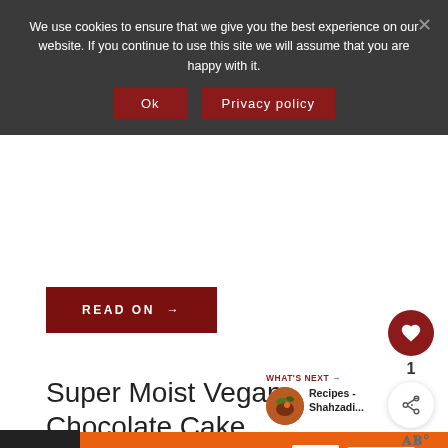We use cookies to ensure that we give you the best experience on our website. If you continue to use this site we will assume that you are happy with it.
Ok   Privacy policy
READ ON →
1
Super Moist Vegan Chocolate Cake
WHAT'S NEXT → Recipes - Shahzadi...
You can help hungry kids.   NO KID HUNGRY   LEARN HOW